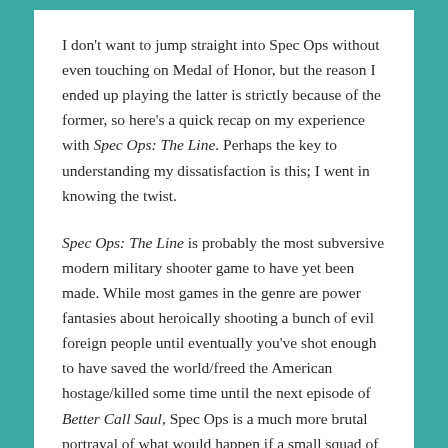I don't want to jump straight into Spec Ops without even touching on Medal of Honor, but the reason I ended up playing the latter is strictly because of the former, so here's a quick recap on my experience with Spec Ops: The Line. Perhaps the key to understanding my dissatisfaction is this; I went in knowing the twist.
Spec Ops: The Line is probably the most subversive modern military shooter game to have yet been made. While most games in the genre are power fantasies about heroically shooting a bunch of evil foreign people until eventually you've shot enough to have saved the world/freed the American hostage/killed some time until the next episode of Better Call Saul, Spec Ops is a much more brutal portrayal of what would happen if a small squad of elite US special ops with mild regenerative healing abilities wandered into a very delicate situation in Dubai and tried to solve everything with their